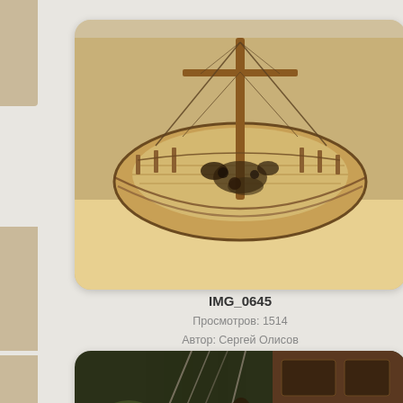[Figure (photo): Close-up photograph of a detailed wooden sailing ship model, showing the deck, masts, rigging and deck fittings, viewed from above at an angle. The model appears to be a tall ship or historical vessel with intricate rope work and wooden components.]
IMG_0645
Просмотров: 1514
Автор: Сергей Олисов
[Figure (photo): Partial photograph (bottom portion visible) of another wooden sailing ship model, showing rigging, ropes and deck details with darker tones, partially cropped at the bottom of the page.]